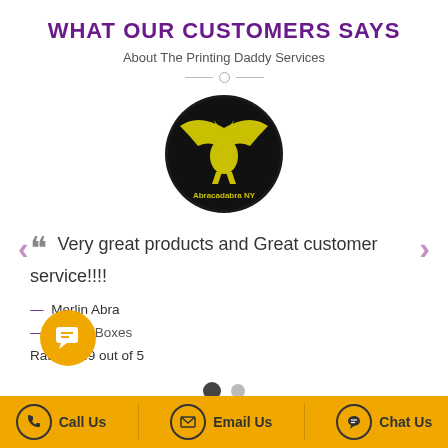WHAT OUR CUSTOMERS SAYS
About The Printing Daddy Services
[Figure (logo): Circular logo with black background showing a yellow winged dragon/gargoyle creature with text 'Abracadabra NY' at the bottom]
Very great products and Great customer service!!!!
— Merlin Abra
— - Soap Boxes
Rating: 4.9 out of 5
Call Us  Email Us  Chat Us